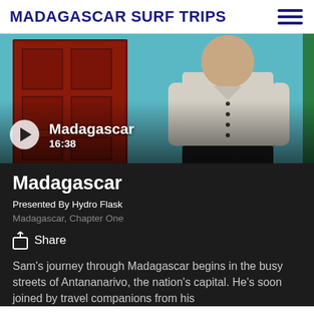MADAGASCAR SURF TRIPS
[Figure (photo): Video thumbnail showing a man in a light shirt standing against a teal/blue painted wall with a red wooden door on the left. Play button overlay with text 'Madagascar' and duration '16:38'.]
Madagascar
Presented By Hydro Flask
Madagascar, Chapter One
Share
Sam's journey through Madagascar begins in the busy streets of Antananarivo, the nation's capital. He's soon joined by travel companions from his